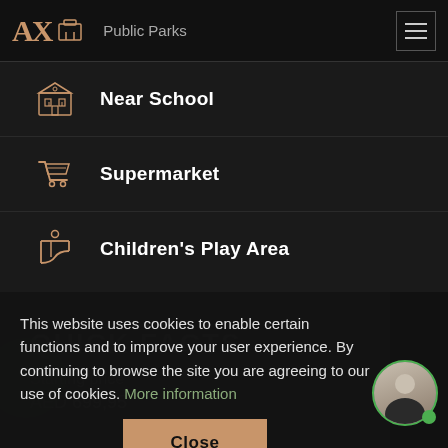Public Parks
Near School
Supermarket
Children's Play Area
This website uses cookies to enable certain functions and to improve your user experience. By continuing to browse the site you are agreeing to our use of cookies. More information
Close